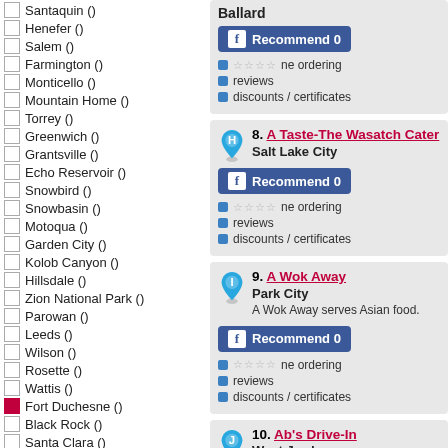Santaquin ()
Henefer ()
Salem ()
Farmington ()
Monticello ()
Mountain Home ()
Torrey ()
Greenwich ()
Grantsville ()
Echo Reservoir ()
Snowbird ()
Snowbasin ()
Motoqua ()
Garden City ()
Kolob Canyon ()
Hillsdale ()
Zion National Park ()
Parowan ()
Leeds ()
Wilson ()
Rosette ()
Wattis ()
Fort Duchesne () [checked]
Black Rock ()
Santa Clara ()
Saratoga Springs () [checked]
Coalville ()
Mantua Reservoir ()
South Ogden ()
Cedarview ()
Manti ()
Hovenweep National Monument ()
Ballard - Recommend 0 - phone ordering, reviews, discounts / certificates
8. A Taste-The Wasatch Cater - Salt Lake City - Recommend 0 - phone ordering, reviews, discounts / certificates
9. A Wok Away - Park City - A Wok Away serves Asian food. - Recommend 0 - phone ordering, reviews, discounts / certificates
10. Ab's Drive-In - West Jordan